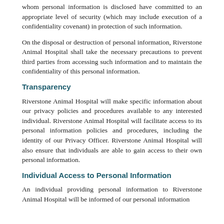whom personal information is disclosed have committed to an appropriate level of security (which may include execution of a confidentiality covenant) in protection of such information.
On the disposal or destruction of personal information, Riverstone Animal Hospital shall take the necessary precautions to prevent third parties from accessing such information and to maintain the confidentiality of this personal information.
Transparency
Riverstone Animal Hospital will make specific information about our privacy policies and procedures available to any interested individual. Riverstone Animal Hospital will facilitate access to its personal information policies and procedures, including the identity of our Privacy Officer. Riverstone Animal Hospital will also ensure that individuals are able to gain access to their own personal information.
Individual Access to Personal Information
An individual providing personal information to Riverstone Animal Hospital will be informed of our personal information